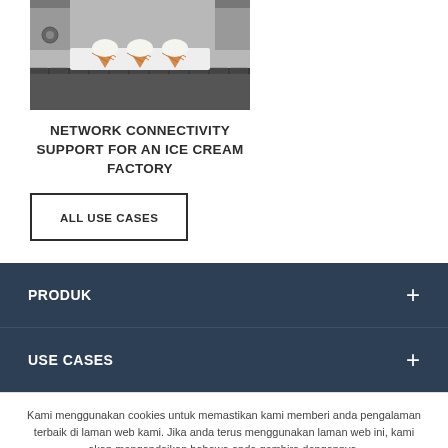[Figure (photo): Photo of ice cream cones on a factory conveyor belt]
NETWORK CONNECTIVITY SUPPORT FOR AN ICE CREAM FACTORY
ALL USE CASES
PRODUK
USE CASES
Kami menggunakan cookies untuk memastikan kami memberi anda pengalaman terbaik di laman web kami. Jika anda terus menggunakan laman web ini, kami akan mengandaikan bahawa anda gembira dengannya.
OKEY  DASAR KUKI